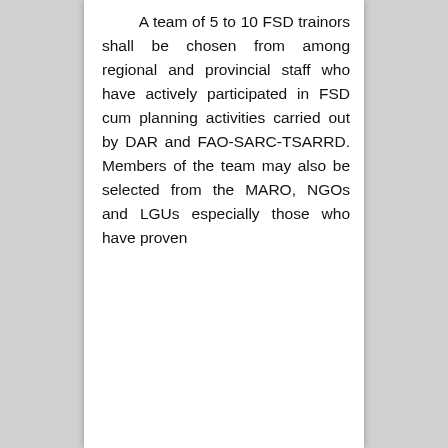A team of 5 to 10 FSD trainors shall be chosen from among regional and provincial staff who have actively participated in FSD cum planning activities carried out by DAR and FAO-SARC-TSARRD. Members of the team may also be selected from the MARO, NGOs and LGUs especially those who have proven